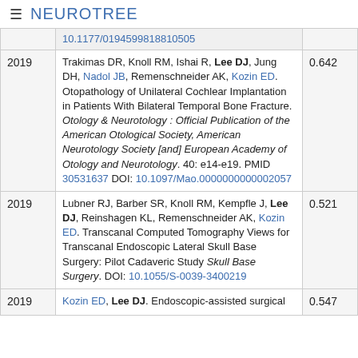≡ NEUROTREE
| Year | Reference | Score |
| --- | --- | --- |
|  | 10.1177/0194599818810505 |  |
| 2019 | Trakimas DR, Knoll RM, Ishai R, Lee DJ, Jung DH, Nadol JB, Remenschneider AK, Kozin ED. Otopathology of Unilateral Cochlear Implantation in Patients With Bilateral Temporal Bone Fracture. Otology & Neurotology : Official Publication of the American Otological Society, American Neurotology Society [and] European Academy of Otology and Neurotology. 40: e14-e19. PMID 30531637 DOI: 10.1097/Mao.0000000000002057 | 0.642 |
| 2019 | Lubner RJ, Barber SR, Knoll RM, Kempfle J, Lee DJ, Reinshagen KL, Remenschneider AK, Kozin ED. Transcanal Computed Tomography Views for Transcanal Endoscopic Lateral Skull Base Surgery: Pilot Cadaveric Study Skull Base Surgery. DOI: 10.1055/S-0039-3400219 | 0.521 |
| 2019 | Kozin ED, Lee DJ. Endoscopic-assisted surgical... | 0.547 |